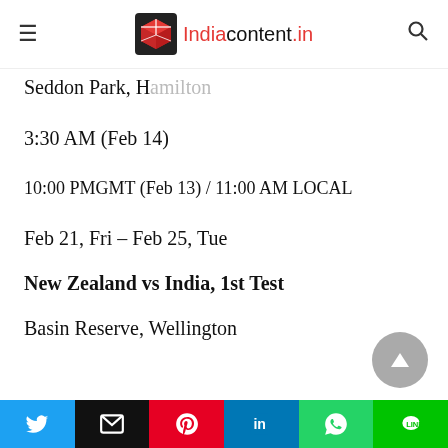Indiacontent.in
Seddon Park, Hamilton
3:30 AM (Feb 14)
10:00 PMGMT (Feb 13) / 11:00 AM LOCAL
Feb 21, Fri – Feb 25, Tue
New Zealand vs India, 1st Test
Basin Reserve, Wellington
Share bar: Twitter, Email, Pinterest, LinkedIn, WhatsApp, LINE